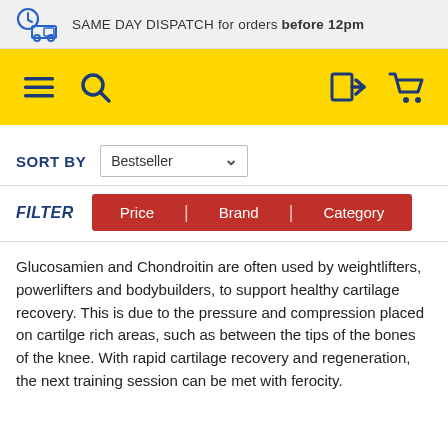SAME DAY DISPATCH for orders before 12pm
[Figure (screenshot): Yellow navigation bar with hamburger menu icon, search icon, login arrow icon, and shopping cart icon]
SORT BY   Bestseller
FILTER   Price | Brand | Category
Glucosamien and Chondroitin are often used by weightlifters, powerlifters and bodybuilders, to support healthy cartilage recovery. This is due to the pressure and compression placed on cartilge rich areas, such as between the tips of the bones of the knee. With rapid cartilage recovery and regeneration, the next training session can be met with ferocity.